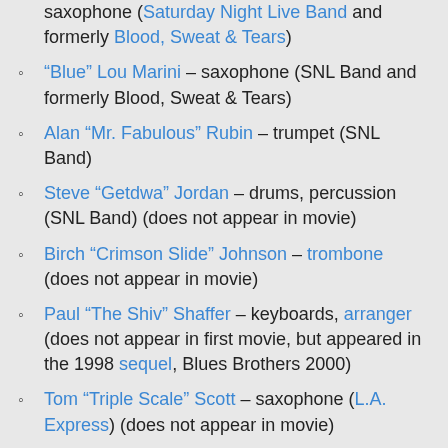saxophone (Saturday Night Live Band and formerly Blood, Sweat & Tears)
“Blue” Lou Marini – saxophone (SNL Band and formerly Blood, Sweat & Tears)
Alan “Mr. Fabulous” Rubin – trumpet (SNL Band)
Steve “Getdwa” Jordan – drums, percussion (SNL Band) (does not appear in movie)
Birch “Crimson Slide” Johnson – trombone (does not appear in movie)
Paul “The Shiv” Shaffer – keyboards, arranger (does not appear in first movie, but appeared in the 1998 sequel, Blues Brothers 2000)
Tom “Triple Scale” Scott – saxophone (L.A. Express) (does not appear in movie)